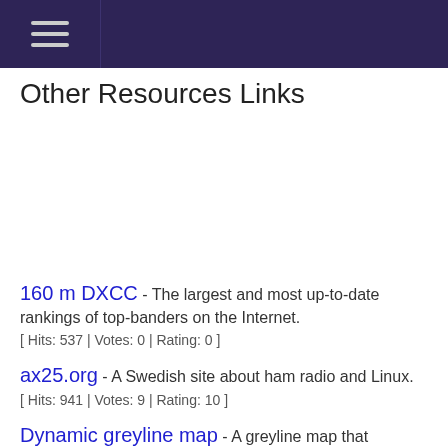Other Resources Links
160 m DXCC - The largest and most up-to-date rankings of top-banders on the Internet. [ Hits: 537 | Votes: 0 | Rating: 0 ]
ax25.org - A Swedish site about ham radio and Linux. [ Hits: 941 | Votes: 9 | Rating: 10 ]
Dynamic greyline map - A greyline map that automatically refreshes every five minutes DX.QSL.NET [ Hits: 2949 | Votes: 39 | Rating: 6.13 ]